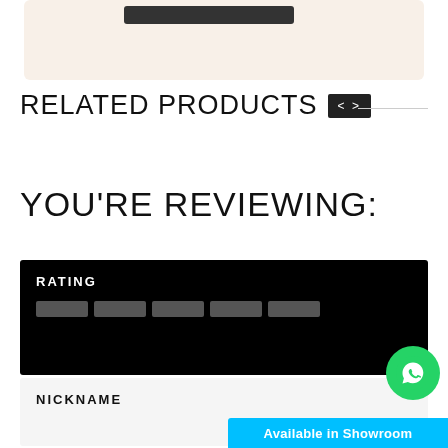[Figure (screenshot): Beige/cream colored box with a dark button element at top]
RELATED PRODUCTS
YOU'RE REVIEWING:
RATING
NICKNAME
[Figure (illustration): WhatsApp green circular button icon]
Available in Showroom